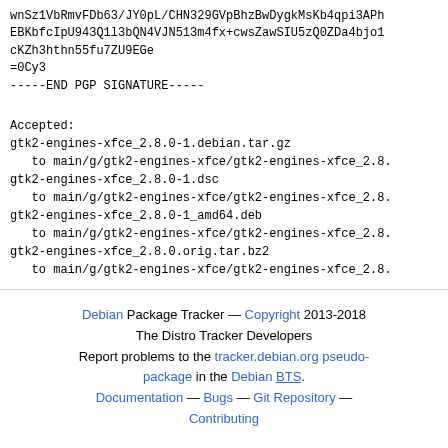wnSz1VbRmvFDb63/JY0pL/CHN329GVpBhzBwDygkMsKb4qpi3APh
EBKbfcIpU943Q1l3bQN4VJN513m4fx+cwsZawSIU5zQ0ZDa4bjo1
cKZh3hthn55fu7ZU9EGe
=0Cy3
-----END PGP SIGNATURE-----
Accepted:
gtk2-engines-xfce_2.8.0-1.debian.tar.gz
   to main/g/gtk2-engines-xfce/gtk2-engines-xfce_2.8.
gtk2-engines-xfce_2.8.0-1.dsc
   to main/g/gtk2-engines-xfce/gtk2-engines-xfce_2.8.
gtk2-engines-xfce_2.8.0-1_amd64.deb
   to main/g/gtk2-engines-xfce/gtk2-engines-xfce_2.8.
gtk2-engines-xfce_2.8.0.orig.tar.bz2
   to main/g/gtk2-engines-xfce/gtk2-engines-xfce_2.8.
Debian Package Tracker — Copyright 2013-2018 The Distro Tracker Developers. Report problems to the tracker.debian.org pseudo-package in the Debian BTS. Documentation — Bugs — Git Repository — Contributing